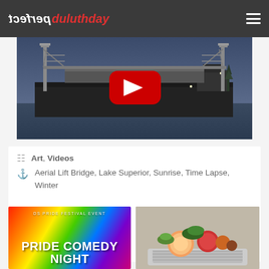perfect duluthday
[Figure (screenshot): YouTube video thumbnail showing Aerial Lift Bridge at sunrise over Lake Superior in winter, with a large ship passing under the bridge. A red YouTube play button is centered on the image.]
Art, Videos
Aerial Lift Bridge, Lake Superior, Sunrise, Time Lapse, Winter
[Figure (photo): DS Pride Festival Event – Pride Comedy Night promotional image with rainbow colored background]
[Figure (photo): Food/grocery related image showing various food items]